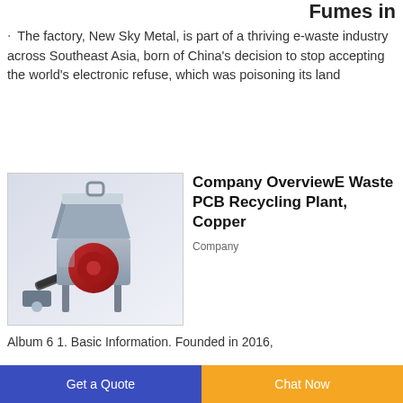Fumes in
· The factory, New Sky Metal, is part of a thriving e-waste industry across Southeast Asia, born of China's decision to stop accepting the world's electronic refuse, which was poisoning its land
[Figure (photo): Industrial PCB recycling / shredding machine with red drum and conveyor belt, 3D render on light background]
Company OverviewE Waste PCB Recycling Plant, Copper
Company
Album 6 1. Basic Information. Founded in 2016,
Get a Quote
Chat Now